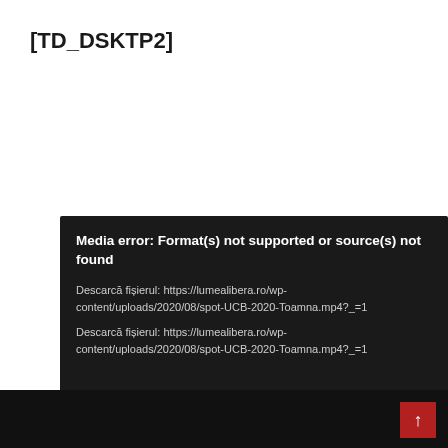[TD_DSKTP2]
[Figure (screenshot): Media player error box with dark background showing 'Media error: Format(s) not supported or source(s) not found' and two download links for spot-UCB-2020-Toamna.mp4?_=1]
Footer bar with back-to-top button